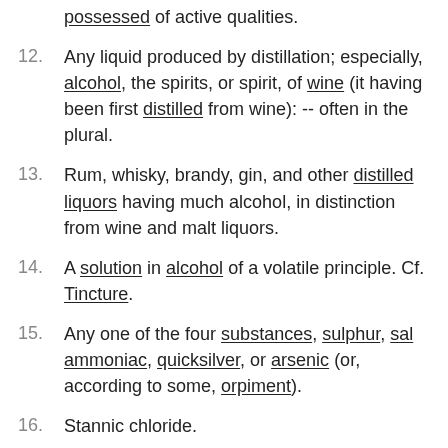possessed of active qualities.
12. Any liquid produced by distillation; especially, alcohol, the spirits, or spirit, of wine (it having been first distilled from wine): -- often in the plural.
13. Rum, whisky, brandy, gin, and other distilled liquors having much alcohol, in distinction from wine and malt liquors.
14. A solution in alcohol of a volatile principle. Cf. Tincture.
15. Any one of the four substances, sulphur, sal ammoniac, quicksilver, or arsenic (or, according to some, orpiment).
16. Stannic chloride.